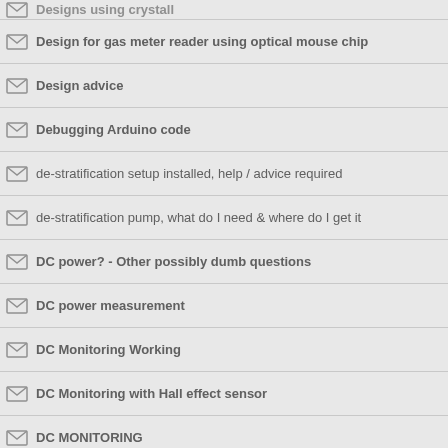Designs using crystall
Design for gas meter reader using optical mouse chip
Design advice
Debugging Arduino code
de-stratification setup installed, help / advice required
de-stratification pump, what do I need & where do I get it
DC power? - Other possibly dumb questions
DC power measurement
DC Monitoring Working
DC Monitoring with Hall effect sensor
DC MONITORING
Data logging problem using public IP